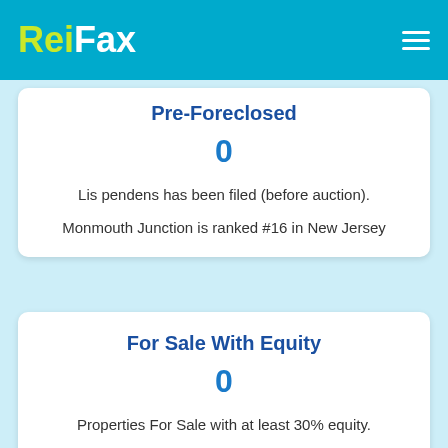ReiFax
Pre-Foreclosed
0
Lis pendens has been filed (before auction).
Monmouth Junction is ranked #16 in New Jersey
For Sale With Equity
0
Properties For Sale with at least 30% equity.
Monmouth Junction is ranked #319 in New Jersey